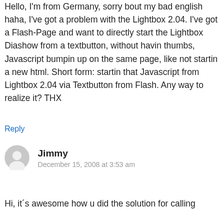Hello, I'm from Germany, sorry bout my bad english haha, I've got a problem with the Lightbox 2.04. I've got a Flash-Page and want to directly start the Lightbox Diashow from a textbutton, without havin thumbs, Javascript bumpin up on the same page, like not startin a new html. Short form: startin that Javascript from Lightbox 2.04 via Textbutton from Flash. Any way to realize it? THX
Reply
Jimmy
December 15, 2008 at 3:53 am
Hi, it´s awesome how u did the solution for calling